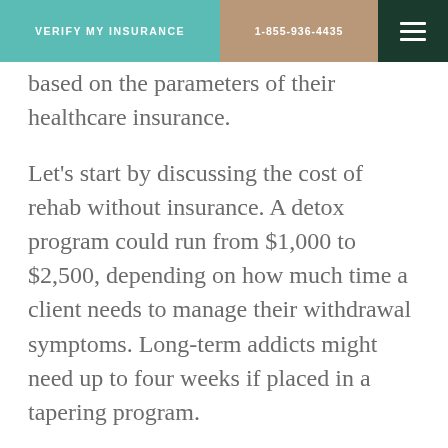VERIFY MY INSURANCE | 1-855-936-4435
based on the parameters of their healthcare insurance.
Let's start by discussing the cost of rehab without insurance. A detox program could run from $1,000 to $2,500, depending on how much time a client needs to manage their withdrawal symptoms. Long-term addicts might need up to four weeks if placed in a tapering program.
Residential treatment should run between $4,000 a month up to $15,000 a month. The difference would have to do with things like rehab location, rehab amenities, and the